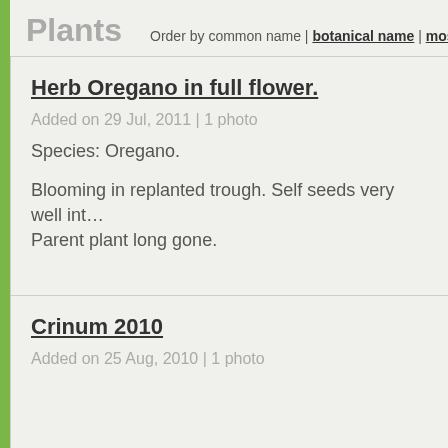Plants  Order by common name | botanical name | most recent
Herb Oregano in full flower.
Added on 29 Jul, 2011 | 1 photo
Species: Oregano.
Blooming in replanted trough. Self seeds very well int… Parent plant long gone.
Crinum 2010
Added on 25 Aug, 2010 | 1 photo
Hypericum